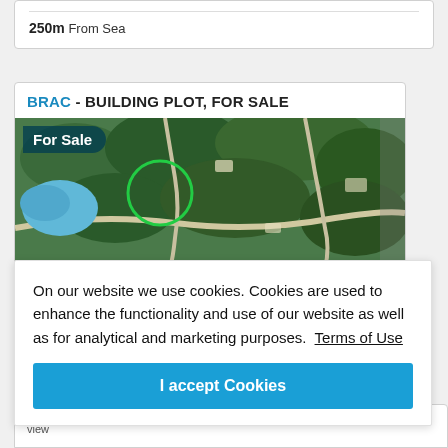250m From Sea
BRAC - BUILDING PLOT, FOR SALE
[Figure (photo): Aerial satellite view of a wooded coastal area on the island of Brac, Croatia, with a 'For Sale' badge overlay in the top-left corner]
On our website we use cookies. Cookies are used to enhance the functionality and use of our website as well as for analytical and marketing purposes. Terms of Use
I accept Cookies
...on our island of Brac. Large building plot with sea view.